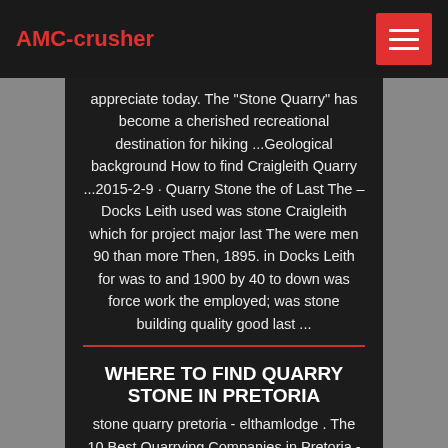AMC-crusher
appreciate today. The "Stone Quarry" has become a cherished recreational destination for hiking ...Geological background How to find Craigleith Quarry ...2015-2-9 · Quarry Stone the of Last The – Docks Leith used was stone Craigleith which for project major last The were men 90 than more Then, 1895. in Docks Leith for was to and 1900 by 40 to down was force work the employed; was stone building quality good last ...
WHERE TO FIND QUARRY STONE IN PRETORIA
stone quarry pretoria - elthamlodge . The 10 Best Quarrying Companies in Pretoria - Infoisinfo Best Quarrying Companies in Pretoria. Find phone numbers, address, opening hours and reviews of the top...